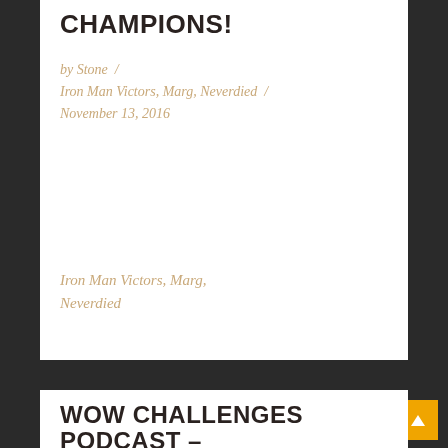CHAMPIONS!
by Stone / Iron Man Victors, Marg, Neverdied / November 13, 2016
Iron Man Victors, Marg, Neverdied
WOW CHALLENGES PODCAST –